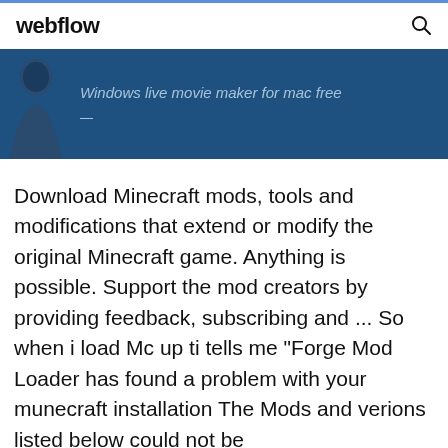webflow
[Figure (screenshot): Dark blue banner with a partial silhouette figure on the left and italic text 'Windows live movie maker for mac free' in light blue-gray color]
Download Minecraft mods, tools and modifications that extend or modify the original Minecraft game. Anything is possible. Support the mod creators by providing feedback, subscribing and ... So when i load Mc up ti tells me "Forge Mod Loader has found a problem with your munecraft installation The Mods and verions listed below could not be